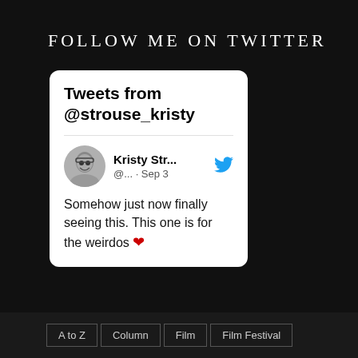FOLLOW ME ON TWITTER
[Figure (screenshot): Embedded Twitter widget showing tweets from @strouse_kristy. Contains profile photo of Kristy Str..., Twitter bird icon, handle @... · Sep 3, and tweet text: Somehow just now finally seeing this. This one is for the weirdos ❤]
A to Z
Column
Film
Film Festival